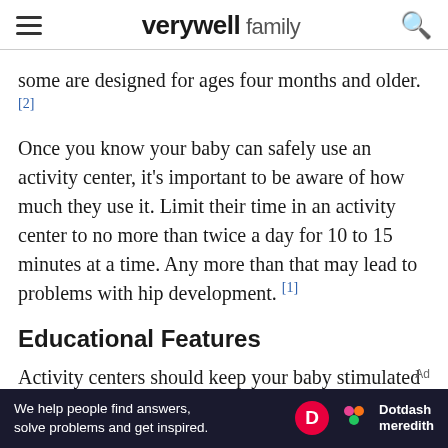verywell family
some are designed for ages four months and older. [2]
Once you know your baby can safely use an activity center, it's important to be aware of how much they use it. Limit their time in an activity center to no more than twice a day for 10 to 15 minutes at a time. Any more than that may lead to problems with hip development. [1]
Educational Features
Activity centers should keep your baby stimulated with features that help their development and engage their attention. Look for toys to grab and
[Figure (other): Dotdash Meredith advertisement banner: 'We help people find answers, solve problems and get inspired.']